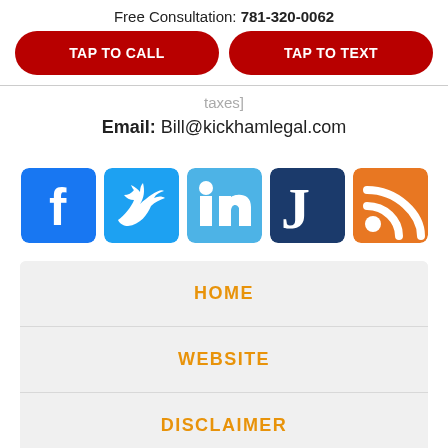Free Consultation: 781-320-0062
TAP TO CALL
TAP TO TEXT
taxes]
Email: Bill@kickhamlegal.com
[Figure (logo): Social media icons: Facebook, Twitter, LinkedIn, Justia, RSS Feed]
HOME
WEBSITE
DISCLAIMER